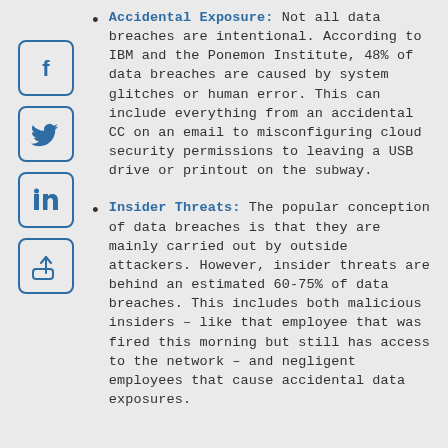Accidental Exposure: Not all data breaches are intentional. According to IBM and the Ponemon Institute, 48% of data breaches are caused by system glitches or human error. This can include everything from an accidental CC on an email to misconfiguring cloud security permissions to leaving a USB drive or printout on the subway.
Insider Threats: The popular conception of data breaches is that they are mainly carried out by outside attackers. However, insider threats are behind an estimated 60-75% of data breaches. This includes both malicious insiders – like that employee that was fired this morning but still has access to the network – and negligent employees that cause accidental data exposures.